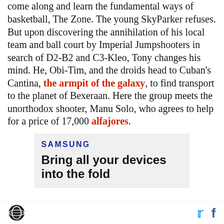come along and learn the fundamental ways of basketball, The Zone. The young SkyParker refuses. But upon discovering the annihilation of his local team and ball court by Imperial Jumpshooters in search of D2-B2 and C3-Kleo, Tony changes his mind. He, Obi-Tim, and the droids head to Cuban's Cantina, the armpit of the galaxy, to find transport to the planet of Bexeraan. Here the group meets the unorthodox shooter, Manu Solo, who agrees to help for a price of 17,000 alfajores.
[Figure (other): Samsung advertisement: 'Bring all your devices into the fold']
Site logo | Twitter icon | Facebook icon